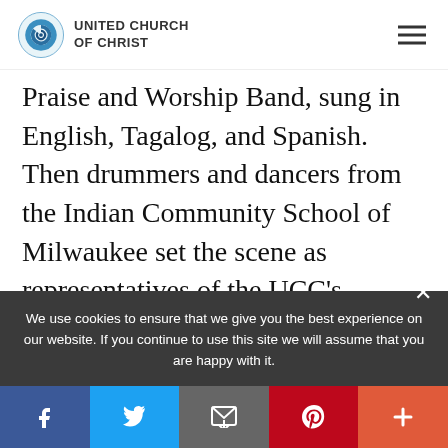UNITED CHURCH OF CHRIST
Praise and Worship Band, sung in English, Tagalog, and Spanish. Then drummers and dancers from the Indian Community School of Milwaukee set the scene as representatives of the UCC's Council for Racial and Ethnic Ministries (COREM) poured water into a baptismal font that, along with a model of The
We use cookies to ensure that we give you the best experience on our website. If you continue to use this site we will assume that you are happy with it.